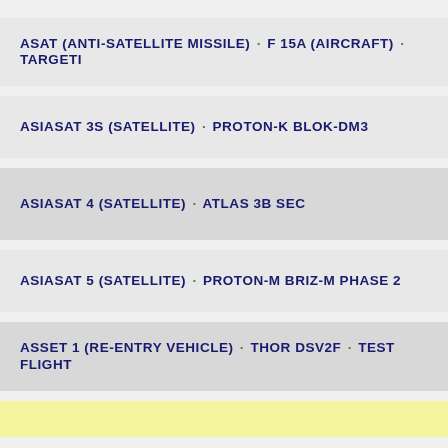ASAT (ANTI-SATELLITE MISSILE) · F 15A (AIRCRAFT) · TARGETI
ASIASAT 3S (SATELLITE) · PROTON-K BLOK-DM3
ASIASAT 4 (SATELLITE) · ATLAS 3B SEC
ASIASAT 5 (SATELLITE) · PROTON-M BRIZ-M PHASE 2
ASSET 1 (RE-ENTRY VEHICLE) · THOR DSV2F · TEST FLIGHT
ASSET 2 (RE-ENTRY VEHICLE) · THOR DSV2F · FLIGHT